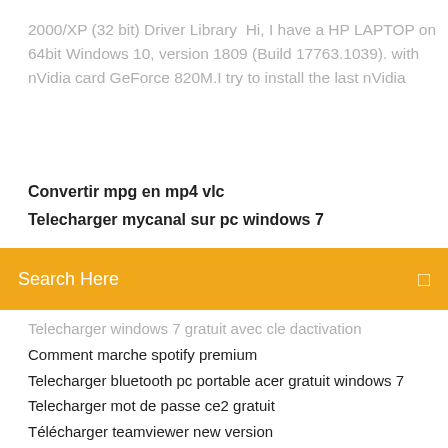2000/XP (32 bit) Driver Library  Hi, I have a HP LAPTOP on 64bit Windows 10, version 1809 (Build 17763.1039). with nVidia card GeForce 820M.I try to install the last nVidia
Convertir mpg en mp4 vlc
Telecharger mycanal sur pc windows 7
Search Here
Telecharger windows 7 gratuit avec cle dactivation
Comment marche spotify premium
Telecharger bluetooth pc portable acer gratuit windows 7
Telecharger mot de passe ce2 gratuit
Télécharger teamviewer new version
Candy crush saga niveau 1027
Rise of nations extended edition télécharger kickass
Telecharger 4 images 1 mot gratuit tablette
Call of duty infinite warfare installation longue
Final cut pro app for iphone
Ste san andreas telecharger joc